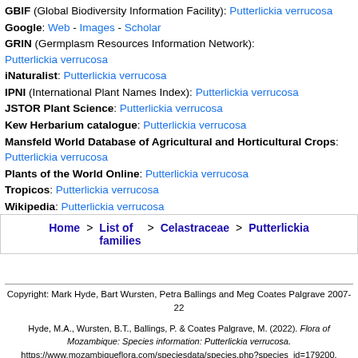GBIF (Global Biodiversity Information Facility): Putterlickia verrucosa
Google: Web - Images - Scholar
GRIN (Germplasm Resources Information Network): Putterlickia verrucosa
iNaturalist: Putterlickia verrucosa
IPNI (International Plant Names Index): Putterlickia verrucosa
JSTOR Plant Science: Putterlickia verrucosa
Kew Herbarium catalogue: Putterlickia verrucosa
Mansfeld World Database of Agricultural and Horticultural Crops: Putterlickia verrucosa
Plants of the World Online: Putterlickia verrucosa
Tropicos: Putterlickia verrucosa
Wikipedia: Putterlickia verrucosa
Home > List of families > Celastraceae > Putterlickia
Copyright: Mark Hyde, Bart Wursten, Petra Ballings and Meg Coates Palgrave 2007-22
Hyde, M.A., Wursten, B.T., Ballings, P. & Coates Palgrave, M. (2022). Flora of Mozambique: Species information: Putterlickia verrucosa. https://www.mozambiqueflora.com/speciesdata/species.php?species_id=179200, retrieved 30 August 2022
Site software last modified: 24 September 2019 10:58am
Terms of use